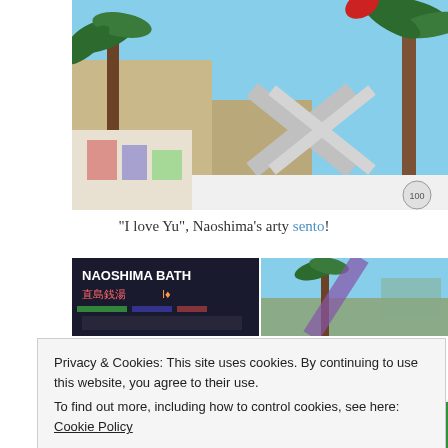[Figure (photo): Exterior photo of a building in Naoshima with palm trees, decorative metallic X-shaped sculpture, and blue sky background]
“I love Yu”, Naoshima’s arty sento!
[Figure (photo): Two smaller photos side by side: left shows NAOSHIMA BATH colorful signage with Japanese text, right shows palm trees and building exterior from below]
Privacy & Cookies: This site uses cookies. By continuing to use this website, you agree to their use.
To find out more, including how to control cookies, see here: Cookie Policy
[Figure (photo): Two more smaller photos side by side at bottom of page, partially visible]